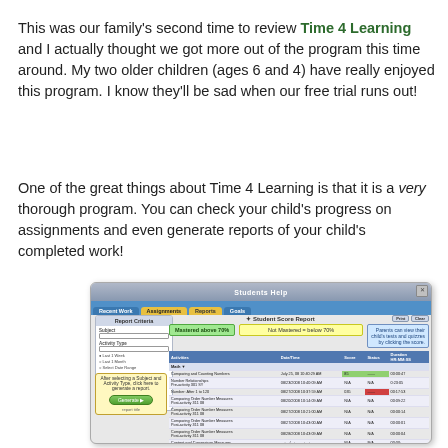This was our family's second time to review Time 4 Learning and I actually thought we got more out of the program this time around. My two older children (ages 6 and 4) have really enjoyed this program. I know they'll be sad when our free trial runs out!
One of the great things about Time 4 Learning is that it is a very thorough program. You can check your child's progress on assignments and even generate reports of your child's completed work!
[Figure (screenshot): Screenshot of Time 4 Learning student interface showing the Reports tab with Student Score Report, Report Criteria panel on left, callout bubbles explaining Mastered above 70%, Not Mastered below 70%, and a note that parents can view tests and quizzes by clicking the score. A table shows activity completion data with dates, scores, and durations.]